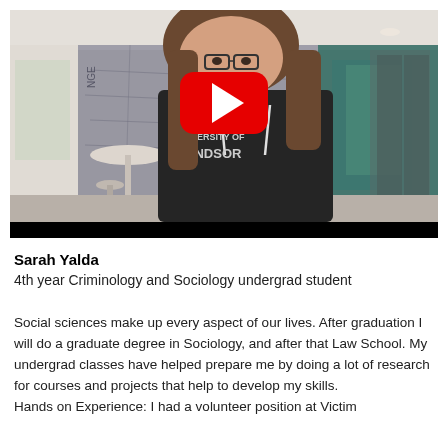[Figure (photo): Video thumbnail showing a young woman wearing a University of Windsor hoodie, standing in a modern lobby/reception area with a map wall graphic behind her. A large red YouTube play button is overlaid in the center of the image.]
Sarah Yalda
4th year Criminology and Sociology undergrad student
Social sciences make up every aspect of our lives. After graduation I will do a graduate degree in Sociology, and after that Law School. My undergrad classes have helped prepare me by doing a lot of research for courses and projects that help to develop my skills.
Hands on Experience: I had a volunteer position at Victim